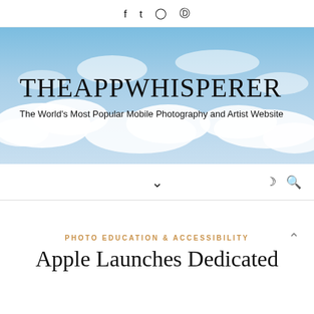f  t  (instagram)  (pinterest)
[Figure (photo): Blue sky with white clouds background banner for TheAppWhisperer website]
THEAPPWHISPERER
The World's Most Popular Mobile Photography and Artist Website
v (chevron)  (moon icon)  (search icon)
PHOTO EDUCATION & ACCESSIBILITY
Apple Launches Dedicated